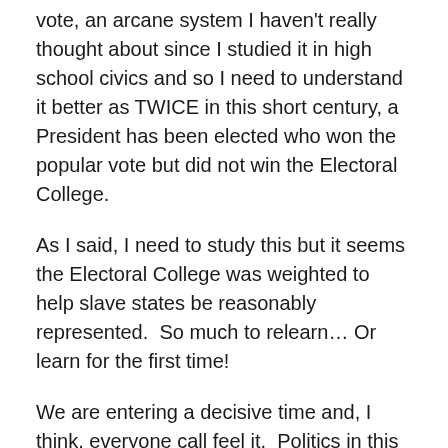vote, an arcane system I haven't really thought about since I studied it in high school civics and so I need to understand it better as TWICE in this short century, a President has been elected who won the popular vote but did not win the Electoral College.
As I said, I need to study this but it seems the Electoral College was weighted to help slave states be reasonably represented.  So much to relearn… Or learn for the first time!
We are entering a decisive time and, I think, everyone call feel it.  Politics in this country will never be the same.
Nor should it.  A registered Independent, I am resolutely Liberal and now I have found I must actively fight for the liberal ideals in which I believe.